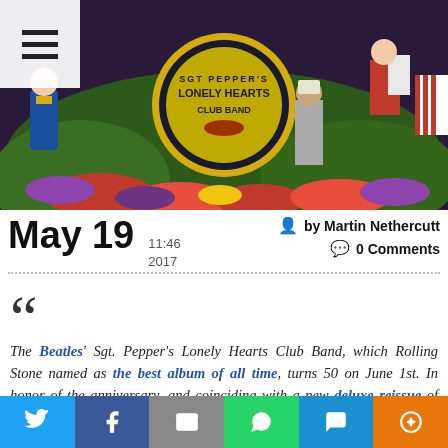[Figure (photo): Sgt. Pepper's Lonely Hearts Club Band album cover artwork showing colorful figures, flowers, and instruments]
May 19  11:46 2017  by Martin Nethercutt  0 Comments
““
The Beatles' Sgt. Pepper's Lonely Hearts Club Band, which Rolling Stone named as the best album of all time, turns 50 on June 1st. In honor of the anniversary, and coinciding with a new deluxe reissue of Sgt. Pepper, we present a series of in-depth pieces – one for each of the album's tracks, excluding the brief "Sgt. Pepper's Lonely Hearts Club Band" reprise on Side Two that explores the background of this revolutionary and